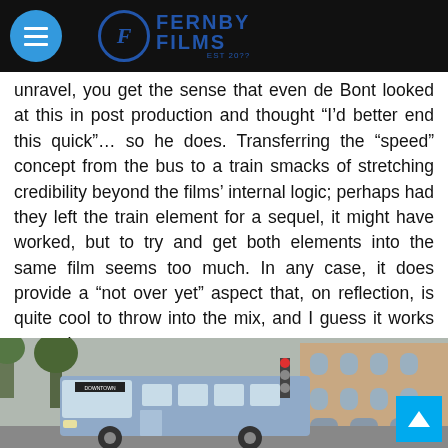Fernby Films
unravel, you get the sense that even de Bont looked at this in post production and thought “I’d better end this quick”… so he does. Transferring the “speed” concept from the bus to a train smacks of stretching credibility beyond the films’ internal logic; perhaps had they left the train element for a sequel, it might have worked, but to try and get both elements into the same film seems too much. In any case, it does provide a “not over yet” aspect that, on reflection, is quite cool to throw into the mix, and I guess it works to a point.
[Figure (photo): A blue transit bus on a city street in front of a historic brick building, scene from the film Speed]